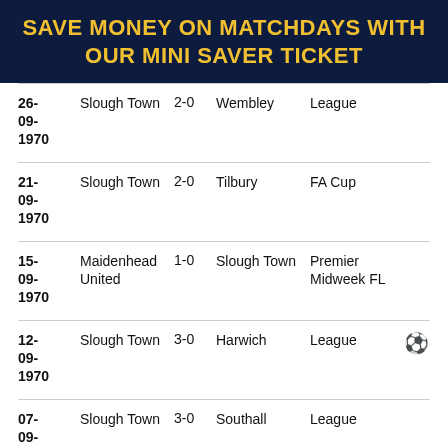SAVE MONEY ON MATCHDAYS WITH OUR MINI SAVER TICKET
| Date | Home | Score | Away | Competition |  |
| --- | --- | --- | --- | --- | --- |
| 26-09-1970 | Slough Town | 2-0 | Wembley | League |  |
| 21-09-1970 | Slough Town | 2-0 | Tilbury | FA Cup |  |
| 15-09-1970 | Maidenhead United | 1-0 | Slough Town | Premier Midweek FL |  |
| 12-09-1970 | Slough Town | 3-0 | Harwich | League | ⚽ |
| 07-09- | Slough Town | 3-0 | Southall | League |  |